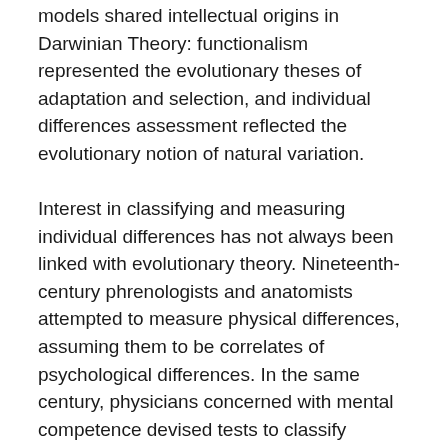models shared intellectual origins in Darwinian Theory: functionalism represented the evolutionary theses of adaptation and selection, and individual differences assessment reflected the evolutionary notion of natural variation.
Interest in classifying and measuring individual differences has not always been linked with evolutionary theory. Nineteenth-century phrenologists and anatomists attempted to measure physical differences, assuming them to be correlates of psychological differences. In the same century, physicians concerned with mental competence devised tests to classify degrees and types of intelligence. However, it was the work of Darwin's cousin Francis Galton (1822-1911) that set the stage for modern studies of individual differences in psychological abilities. Following Darwinian Theory, Galton's interest was in measuring various human physical and